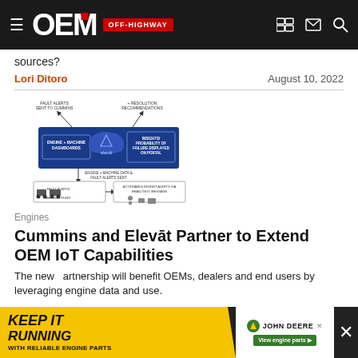OEM OFF-HIGHWAY
sources?
Lori Ditoro
August 10, 2022
[Figure (infographic): Elevāt IoT platform diagram showing engine + machine dashboards, cloud connectivity, insights/probability of failure displayed on portal, fault alerts, machine fleet, and actionable insight alerts via email/text message. Arrows show fault alerts sent to Cummins and resolution recommendations.]
Engines
Cummins and Elevāt Partner to Extend OEM IoT Capabilities
The new partnership will benefit OEMs, dealers and end users by leveraging engine data and use.
[Figure (infographic): John Deere advertisement: KEEP IT RUNNING WITH RELIABLE ENGINE PARTS. View engine parts button.]